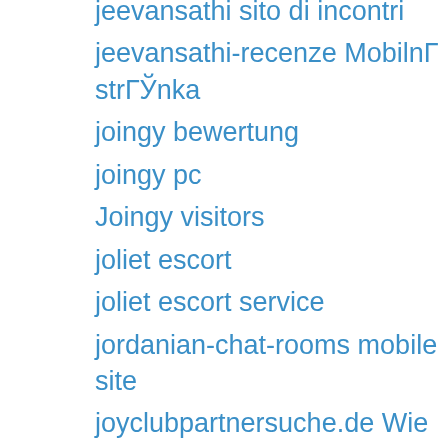jeevansathi sito di incontri
jeevansathi-recenze MobilnГ strГЎnka
joingy bewertung
joingy pc
Joingy visitors
joliet escort
joliet escort service
jordanian-chat-rooms mobile site
joyclubpartnersuche.de Wie funktioniert
jpeoplemeet come funziona
jpeoplemeet connexion
jpeoplemeet reviews
kasidie connexion
kasidie reviews
kent escort website